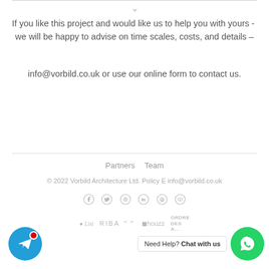If you like this project and would like us to help you with yours - we will be happy to advise on time scales, costs, and details –
info@vorbild.co.uk or use our online form to contact us.
Partners  Team
© 2022 Vorbild Architecture Ltd. Policy E info@vorbild.co.uk
[Figure (logo): Social media icons: Facebook, Twitter, Instagram, LinkedIn, Pinterest, YouTube]
[Figure (logo): Partner logos: The List, RIBA, houzz, Ordre des Architectes]